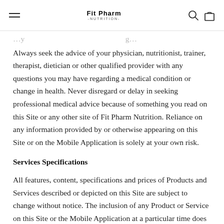Fit Pharm NUTRITION
Always seek the advice of your physician, nutritionist, trainer, therapist, dietician or other qualified provider with any questions you may have regarding a medical condition or change in health. Never disregard or delay in seeking professional medical advice because of something you read on this Site or any other site of Fit Pharm Nutrition. Reliance on any information provided by or otherwise appearing on this Site or on the Mobile Application is solely at your own risk.
Services Specifications
All features, content, specifications and prices of Products and Services described or depicted on this Site are subject to change without notice. The inclusion of any Product or Service on this Site or the Mobile Application at a particular time does not imply or warrant that such Product or Service will be